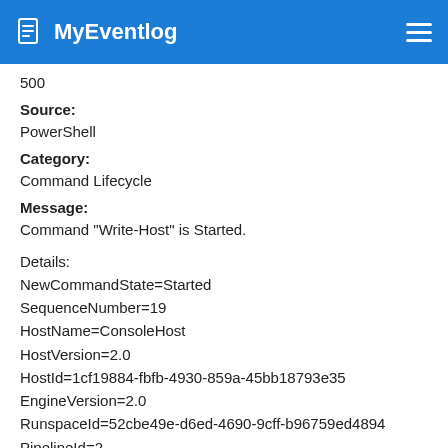MyEventlog
500
Source:
PowerShell
Category:
Command Lifecycle
Message:
Command "Write-Host" is Started.

Details:
NewCommandState=Started
SequenceNumber=19
HostName=ConsoleHost
HostVersion=2.0
HostId=1cf19884-fbfb-4930-859a-45bb18793e35
EngineVersion=2.0
RunspaceId=52cbe49e-d6ed-4690-9cff-b96759ed4894
PipelineId=2
CommandName=Write-Host
CommandType=Cmdlet
ScriptName=